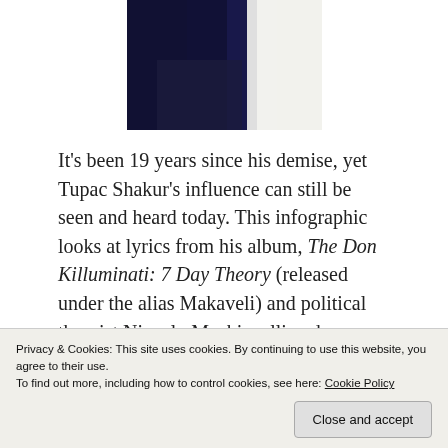[Figure (photo): Partial photo of a person in a dark jacket/suit with white shirt visible at bottom of frame, cropped at top]
It's been 19 years since his demise, yet Tupac Shakur's influence can still be seen and heard today. This infographic looks at lyrics from his album, The Don Killuminati: 7 Day Theory (released under the alias Makaveli) and political theorist Niccolo Machiavelli and excerpts from his most famous work, The Prince.
[Figure (infographic): Partial view of an infographic with title 'MAKAVELI VS. MACHIAVELLI' on a tan/gold background, and a bottom strip showing small images and text columns]
Privacy & Cookies: This site uses cookies. By continuing to use this website, you agree to their use.
To find out more, including how to control cookies, see here: Cookie Policy